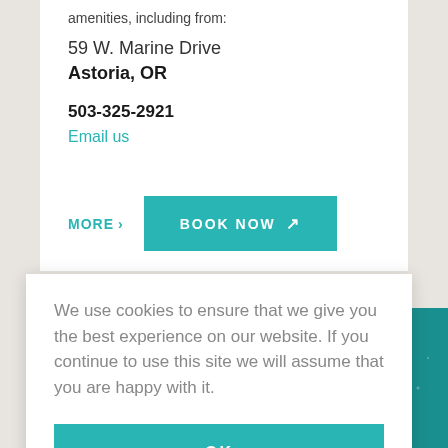amenities, including from:
59 W. Marine Drive
Astoria, OR
503-325-2921
Email us
MORE >
BOOK NOW ↗
We use cookies to ensure that we give you the best experience on our website. If you continue to use this site we will assume that you are happy with it.
OK
[Figure (illustration): Teal background section with white line illustration of a figure/character at the bottom of the page]